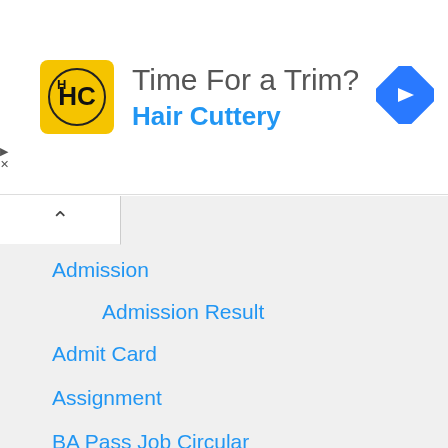[Figure (screenshot): Advertisement banner for Hair Cuttery with yellow logo showing HC, text 'Time For a Trim?' and 'Hair Cuttery' in blue, with a blue diamond navigation arrow on the right]
Admission
Admission Result
Admit Card
Assignment
BA Pass Job Circular
Bank Job Circular
Biography
Career Resource
Chittagong Job Circular
Company Job